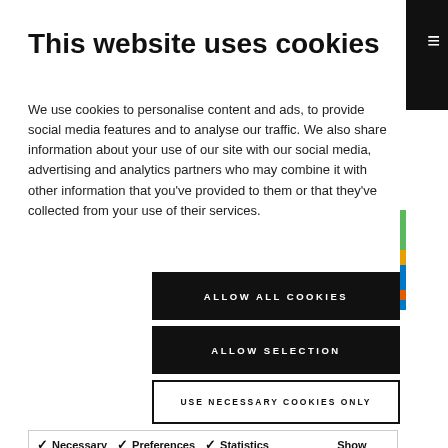This website uses cookies
We use cookies to personalise content and ads, to provide social media features and to analyse our traffic. We also share information about your use of our site with our social media, advertising and analytics partners who may combine it with other information that you've provided to them or that they've collected from your use of their services.
ALLOW ALL COOKIES
ALLOW SELECTION
USE NECESSARY COOKIES ONLY
| Necessary | Preferences | Statistics | Show details |
| --- | --- | --- | --- |
| ✓ Necessary  ✓ Preferences  ✓ Statistics |  |  | Show details ∨ |
| ✓ Marketing |  |  |  |
trillion by 2040 — later than competitors from Bank of America.